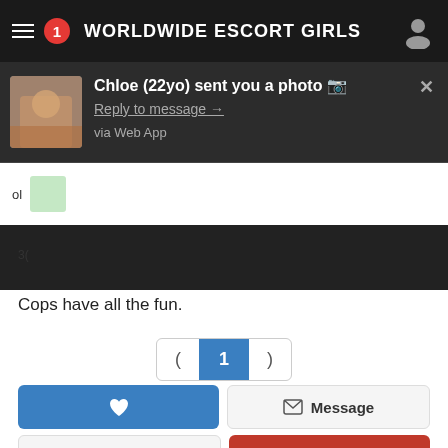[Figure (screenshot): Mobile app screenshot showing a dark notification banner for 'WORLDWIDE ESCORT GIRLS' app with a notification saying 'Chloe (22yo) sent you a photo' with reply link and 'via Web App' text]
Cops have all the fun.
[Figure (screenshot): Pagination control showing ( 1 ) with 1 highlighted in blue]
[Figure (screenshot): Action buttons: blue heart/favorite button, Message button, Review button, red Report button]
[Figure (screenshot): Profile card for Ganchanit (29), Belgium, escort sexgirl with Call and message buttons]